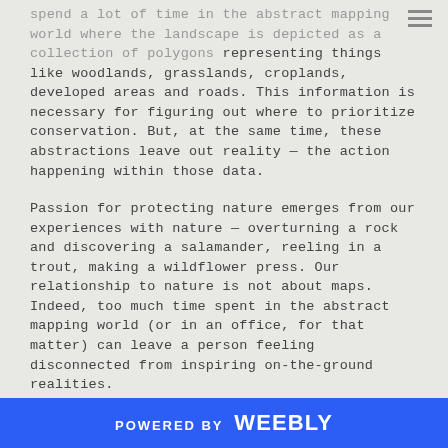spend a lot of time in the abstract mapping world where the landscape is depicted as a collection of polygons representing things like woodlands, grasslands, croplands, developed areas and roads. This information is necessary for figuring out where to prioritize conservation. But, at the same time, these abstractions leave out reality — the action happening within those data.
Passion for protecting nature emerges from our experiences with nature — overturning a rock and discovering a salamander, reeling in a trout, making a wildflower press. Our relationship to nature is not about maps. Indeed, too much time spent in the abstract mapping world (or in an office, for that matter) can leave a person feeling disconnected from inspiring on-the-ground realities.
Is a bus ride through open space the same as being on the ground? No, but it's turned out to be a heck of a lot
POWERED BY weebly